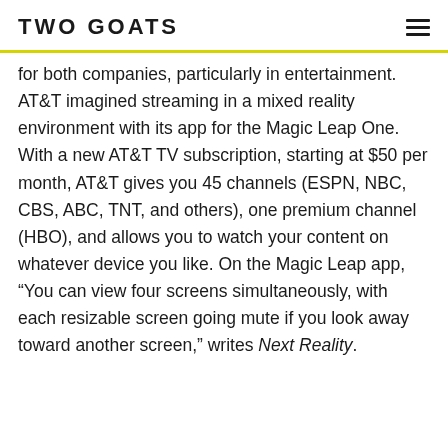TWO GOATS
for both companies, particularly in entertainment. AT&T imagined streaming in a mixed reality environment with its app for the Magic Leap One. With a new AT&T TV subscription, starting at $50 per month, AT&T gives you 45 channels (ESPN, NBC, CBS, ABC, TNT, and others), one premium channel (HBO), and allows you to watch your content on whatever device you like. On the Magic Leap app, “You can view four screens simultaneously, with each resizable screen going mute if you look away toward another screen,” writes Next Reality.